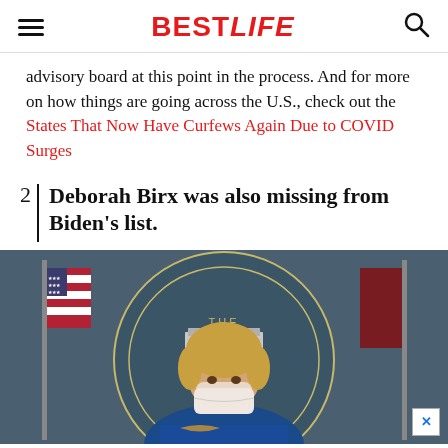BESTLIFE
advisory board at this point in the process. And for more on how things are going across the U.S., check out the States That Now Have Curfews Again Due to COVID Surges
2 | Deborah Birx was also missing from Biden's list.
[Figure (photo): Photo of a woman wearing a face mask standing at a White House briefing podium, with an American flag and the White House seal visible in the background. An ad close button (X) is visible in the bottom right corner.]